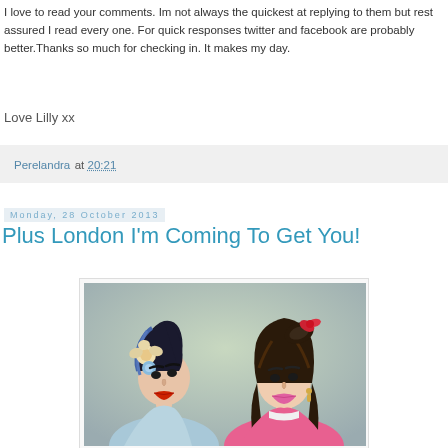I love to read your comments. Im not always the quickest at replying to them but rest assured I read every one. For quick responses twitter and facebook are probably better.Thanks so much for checking in. It makes my day.
Love Lilly xx
Perelandra at 20:21
Monday, 28 October 2013
Plus London I'm Coming To Get You!
[Figure (photo): Two women in pin-up style with flowers in their hair, one with blue-streaked hair and red lips, one with brown hair and pink lips, posing together against a soft background.]